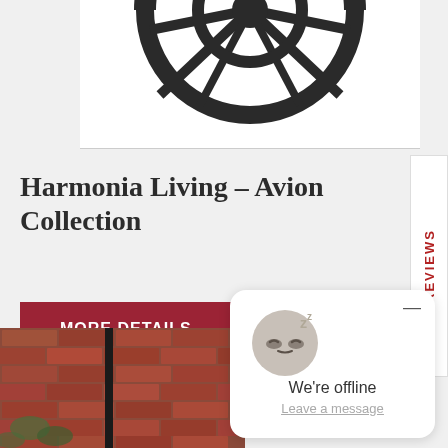[Figure (photo): Partial view of a dark metal ceiling fan or light fixture against white background]
Harmonia Living – Avion Collection
[Figure (other): MORE DETAILS button — dark red rectangular button with white uppercase text]
[Figure (photo): Outdoor scene with brick wall and dark metal post/lamp]
[Figure (other): Chat widget showing sleeping face emoji, 'We're offline' text, and 'Leave a message' link]